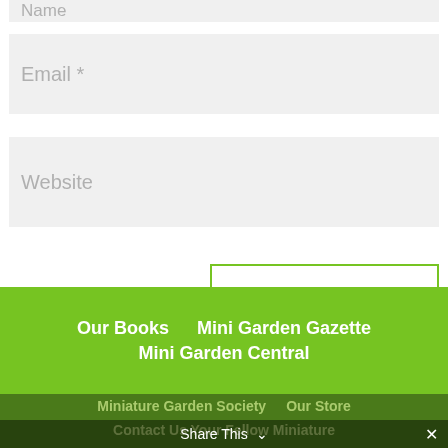Name *
Email *
Website
Submit Comment
Our Books   Mini Garden Gazette   Mini Garden Central
Miniature Garden Society   Our Store   Contact Us Your Fellow Miniature
Share This